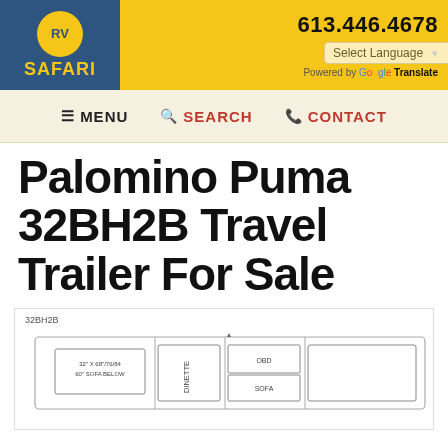[Figure (logo): RV Safari logo — circular yellow badge with 'RV' text on blue background, 'SAFARI' text in yellow below, on dark blue background]
613.446.4678 | Select Language | Powered by Google Translate
MENU  SEARCH  CONTACT
Palomino Puma 32BH2B Travel Trailer For Sale
[Figure (schematic): Floor plan schematic of Palomino Puma 32BH2B travel trailer showing room layout including dinette, OBD, sofa areas]